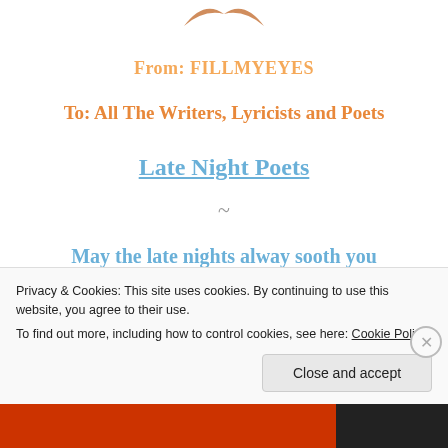[Figure (logo): Partial view of a logo/icon at the top center of the page, orange/brown bird or wings shape]
From: FILLMYEYES
To: All The Writers, Lyricists and Poets
Late Night Poets
~
May the late nights alway sooth you
Privacy & Cookies: This site uses cookies. By continuing to use this website, you agree to their use.
To find out more, including how to control cookies, see here: Cookie Policy
Close and accept